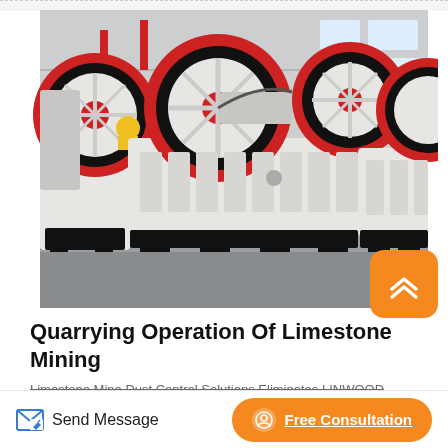[Figure (photo): Industrial jaw crusher machines in a factory setting. Large white and black metal crushing machines with prominent red-rimmed black flywheels/wheels on top. Multiple units visible in a grey warehouse/industrial facility.]
Quarrying Operation Of Limestone Mining
Limestone Mine Dust Control Solutions Eliminates  LINWOOD